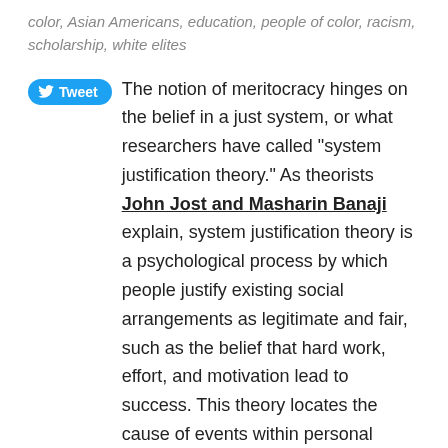color, Asian Americans, education, people of color, racism, scholarship, white elites
The notion of meritocracy hinges on the belief in a just system, or what researchers have called “system justification theory.” As theorists John Jost and Masharin Banaji explain, system justification theory is a psychological process by which people justify existing social arrangements as legitimate and fair, such as the belief that hard work, effort, and motivation lead to success. This theory locates the cause of events within personal attributes, and indicates that individuals should take personal responsibility for outcomes. For example, a recent article by John Jost, Brian Nosek, and Samuel Gosling notes that stability and hierarchy provide both structure and reassurance, in contrast with social change and equality that imply unpredictability and greater chaos, especially in large social systems.